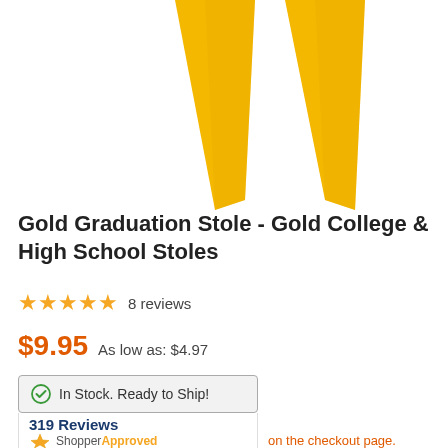[Figure (photo): Two gold/yellow graduation stoles shown hanging, pointed ends downward on white background]
Gold Graduation Stole - Gold College & High School Stoles
★★★★★ 8 reviews
$9.95   As low as: $4.97
In Stock. Ready to Ship!
319 Reviews ShopperApproved on the checkout page.